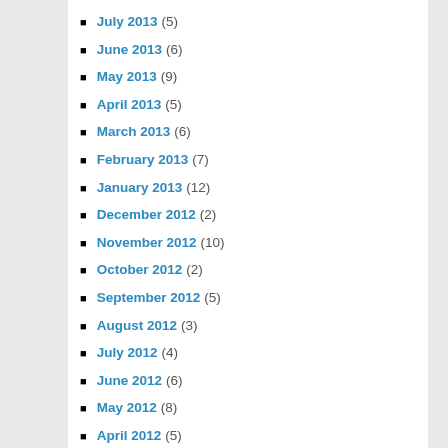July 2013 (5)
June 2013 (6)
May 2013 (9)
April 2013 (5)
March 2013 (6)
February 2013 (7)
January 2013 (12)
December 2012 (2)
November 2012 (10)
October 2012 (2)
September 2012 (5)
August 2012 (3)
July 2012 (4)
June 2012 (6)
May 2012 (8)
April 2012 (5)
March 2012 (5)
February 2012 (7)
January 2012 (4)
December 2011 (10)
November 2011 (11)